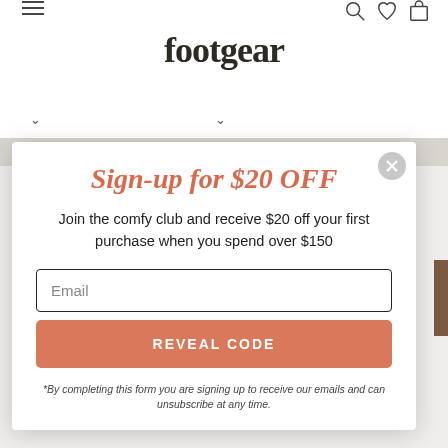footgear
Sign-up for $20 OFF
Join the comfy club and receive $20 off your first purchase when you spend over $150
Email
REVEAL CODE
*By completing this form you are signing up to receive our emails and can unsubscribe at any time.